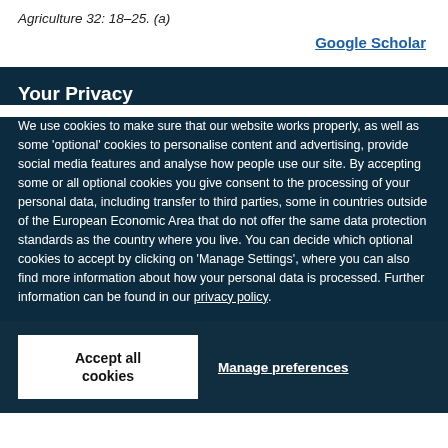Agriculture 32: 18–25. (a)
Google Scholar
Your Privacy
We use cookies to make sure that our website works properly, as well as some 'optional' cookies to personalise content and advertising, provide social media features and analyse how people use our site. By accepting some or all optional cookies you give consent to the processing of your personal data, including transfer to third parties, some in countries outside of the European Economic Area that do not offer the same data protection standards as the country where you live. You can decide which optional cookies to accept by clicking on 'Manage Settings', where you can also find more information about how your personal data is processed. Further information can be found in our privacy policy.
Accept all cookies
Manage preferences